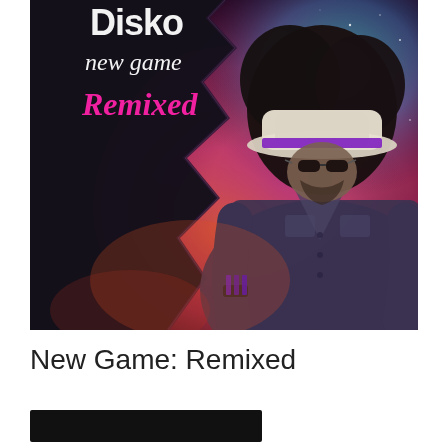[Figure (illustration): Album cover art for 'New Game: Remixed' by Disko (partially visible title). Features a stylized illustrated man wearing a white fedora hat with a purple band, sunglasses, and a denim shirt, looking downward. Background is a split design: left side dark/black torn paper texture, right side a colorful nebula/galaxy in pink, red, teal and purple hues. Text on the cover reads 'Disko new game Remixed' with 'Remixed' in pink italic font.]
New Game: Remixed